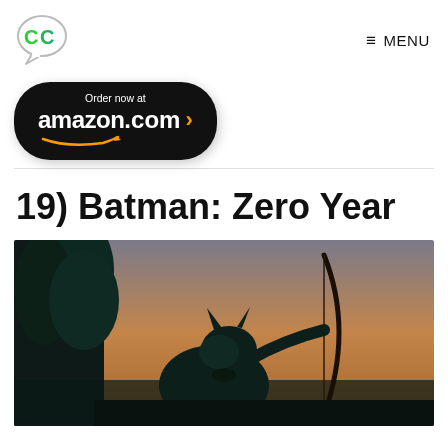CC logo | MENU
[Figure (logo): Comic Cats / ComicCons speech bubble logo with CC letters in green]
[Figure (infographic): Amazon.com Order now banner button with smile logo, dark rounded rectangle]
19) Batman: Zero Year
[Figure (illustration): Batman: Zero Year comic book cover art showing Batman crouching with a bow, dark teal tones with orange/grey sky background]